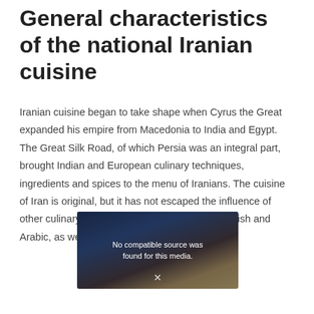General characteristics of the national Iranian cuisine
Iranian cuisine began to take shape when Cyrus the Great expanded his empire from Macedonia to India and Egypt. The Great Silk Road, of which Persia was an integral part, brought Indian and European culinary techniques, ingredients and spices to the menu of Iranians. The cuisine of Iran is original, but it has not escaped the influence of other culinary traditions, primarily Eastern – Turkish and Arabic, as well as Greek and Russian.
[Figure (screenshot): Video player placeholder showing a dark background with an architectural/Iranian scene and text 'No compatible source was found for this media.' with an X close button.]